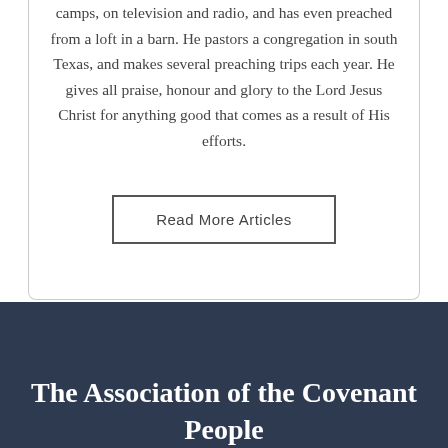camps, on television and radio, and has even preached from a loft in a barn. He pastors a congregation in south Texas, and makes several preaching trips each year. He gives all praise, honour and glory to the Lord Jesus Christ for anything good that comes as a result of His efforts.
Read More Articles
The Association of the Covenant People